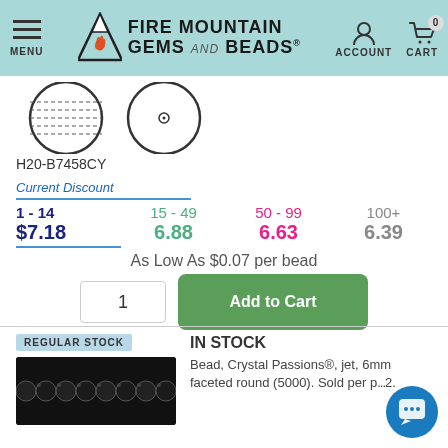[Figure (screenshot): Fire Mountain Gems and Beads website header with logo, menu, account and cart icons]
[Figure (illustration): Two bead diagrams: one showing a flat/cylinder view with dotted lines, one showing a round bead with center hole]
H20-B7458CY
Current Discount
| 1 - 14 | 15 - 49 | 50 - 99 | 100+ |
| --- | --- | --- | --- |
| $7.18 | 6.88 | 6.63 | 6.39 |
As Low As $0.07 per bead
1
Add to Cart
REGULAR STOCK
IN STOCK
Bead, Crystal Passions®, jet, 6mm faceted round (5000). Sold per p...2.
[Figure (photo): Black faceted crystal beads on a strand, dark background]